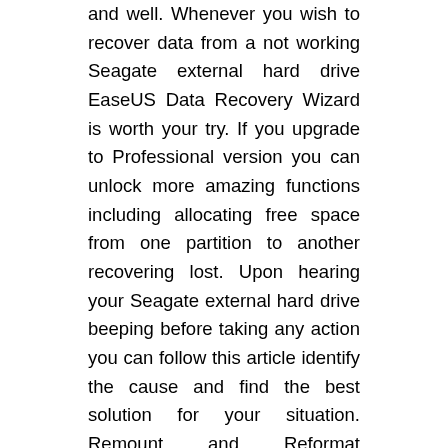and well. Whenever you wish to recover data from a not working Seagate external hard drive EaseUS Data Recovery Wizard is worth your try. If you upgrade to Professional version you can unlock more amazing functions including allocating free space from one partition to another recovering lost. Upon hearing your Seagate external hard drive beeping before taking any action you can follow this article identify the cause and find the best solution for your situation. Remount and Reformat Unmountable Seagate External Hard Drive. If playback doesnt begin shortly try. Type in cmd in the search box right-click Command Prompt and select Run as administrator. To fix or repair corrupted or unreadable seagate external hard drive first need to exclude pc or windows system settings error or seagate external hard drive device driver problems need to reload or Device Manager to hide the device need to open or bios Set the seagate external hard